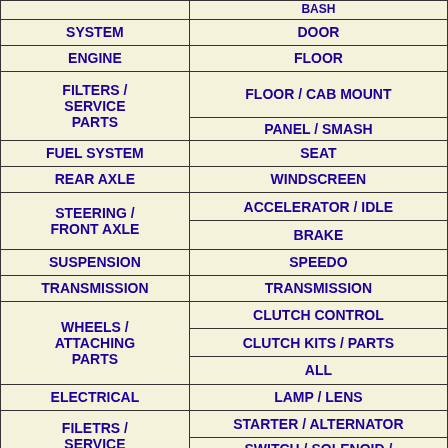| Category (Left) | Category (Right) |
| --- | --- |
| SYSTEM | DOOR |
| ENGINE | FLOOR |
| FILTERS / SERVICE PARTS | FLOOR / CAB MOUNT |
|  | PANEL / SMASH |
| FUEL SYSTEM | SEAT |
| REAR AXLE | WINDSCREEN |
| STEERING / FRONT AXLE | ACCELERATOR / IDLE |
|  | BRAKE |
| SUSPENSION | SPEEDO |
| TRANSMISSION | TRANSMISSION |
| WHEELS / ATTACHING PARTS | CLUTCH CONTROL |
|  | CLUTCH KITS / PARTS |
|  | ALL |
| ELECTRICAL | LAMP / LENS |
| FILETRS / SERVICE PARTS | STARTER / ALTERNATOR |
|  | SWITCH / SOLENOID / RELAY |
| CLAMP | CRANKSHAFT / RELATED PARTS |
| RAIN CAP | CYL. BLOCK / PARTS |
| ALL | CYL. HEAD / PARTS |
| BRACKET KIT | ENGINE MOUNTS |
| FUEL CAPS | EXH. MANIFOLD / TURBO |
| FUEL TANK | GASKET / SEAL |